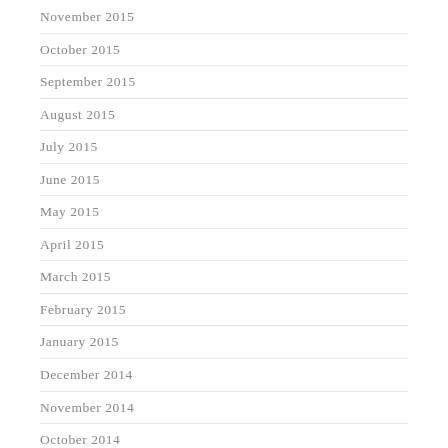November 2015
October 2015
September 2015
August 2015
July 2015
June 2015
May 2015
April 2015
March 2015
February 2015
January 2015
December 2014
November 2014
October 2014
September 2014
August 2014
July 2014